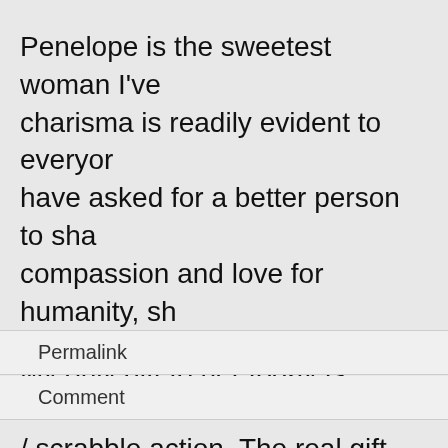Penelope is the sweetest woman I've charisma is readily evident to everyon have asked for a better person to sha compassion and love for humanity, sh
My only gift to her today is dinner at t / scrabble action. The real gift will co vacation to Santa Fe, Taos and Sedo are perfect for me. I'm looking forward
Permalink
Comment